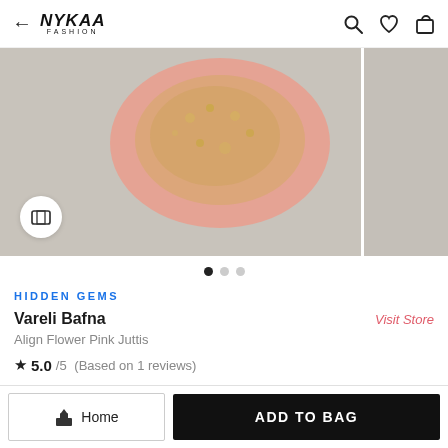← NYKAA FASHION
[Figure (photo): Close-up photo of a pink embroidered jutis/shoe with gold floral embellishments on a grey background. A white circular icon button is visible in the lower left of the image. A partial second image is visible on the right edge.]
HIDDEN GEMS
Vareli Bafna
Visit Store
Align Flower Pink Juttis
★ 5.0/5 (Based on 1 reviews)
₹4,620
MRP Inclusive of all taxes
Home
ADD TO BAG